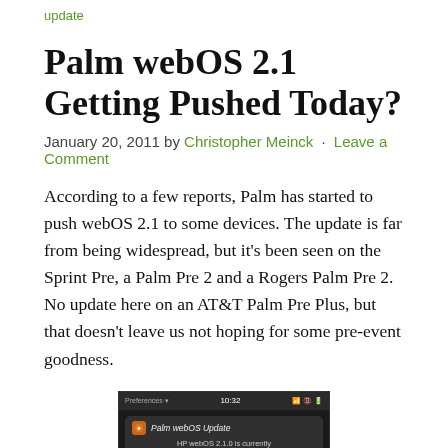update
Palm webOS 2.1 Getting Pushed Today?
January 20, 2011 by Christopher Meinck · Leave a Comment
According to a few reports, Palm has started to push webOS 2.1 to some devices. The update is far from being widespread, but it's been seen on the Sprint Pre, a Palm Pre 2 and a Rogers Palm Pre 2.  No update here on an AT&T Palm Pre Plus, but that doesn't leave us not hoping for some pre-event goodness.
[Figure (screenshot): Screenshot of a Palm webOS device showing a notification card: 'Palm webOS Update - HP webOS 2.1.0 is currently downloading. We will notify you when the update is...' Status bar shows Preferences, 10:32 time, and signal/battery icons.]